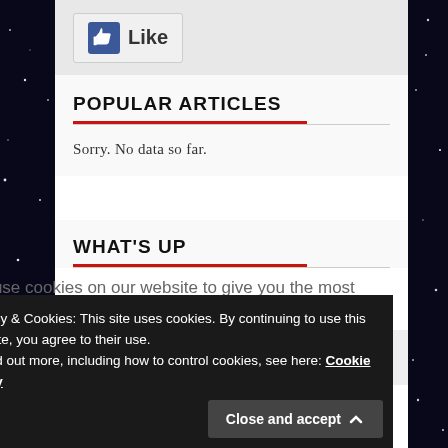[Figure (logo): Facebook Like button with thumbs up icon and 'Like' text]
POPULAR ARTICLES
Sorry. No data so far.
WHAT'S UP
[Figure (screenshot): Comic Conventions banner with yellow text showing 'SOON']
We use cookies on our website to give you the most
Privacy & Cookies: This site uses cookies. By continuing to use this website, you agree to their use.
To find out more, including how to control cookies, see here: Cookie Policy
Close and accept